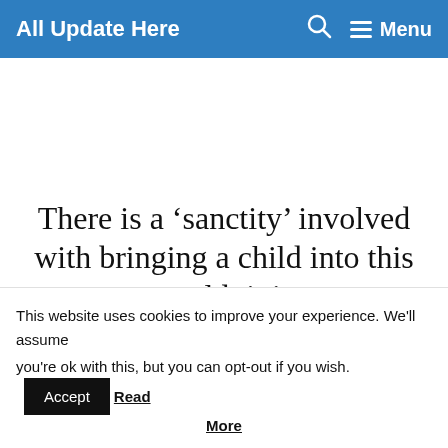All Update Here  🔍  ☰ Menu
There is a ‘sanctity’ involved with bringing a child into this world: it is
This website uses cookies to improve your experience. We'll assume you're ok with this, but you can opt-out if you wish. Accept Read More